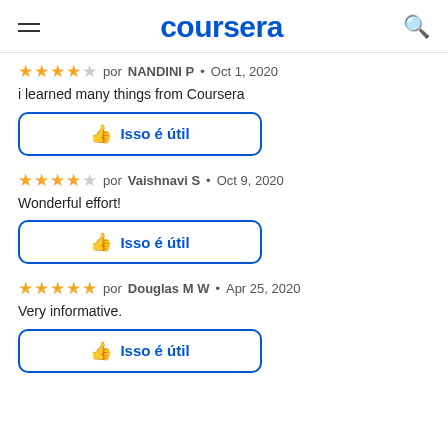coursera
★★★★☆ por NANDINI P · Oct 1, 2020
i learned many things from Coursera
Isso é útil
★★★★☆ por Vaishnavi S · Oct 9, 2020
Wonderful effort!
Isso é útil
★★★★★ por Douglas M W · Apr 25, 2020
Very informative.
Isso é útil